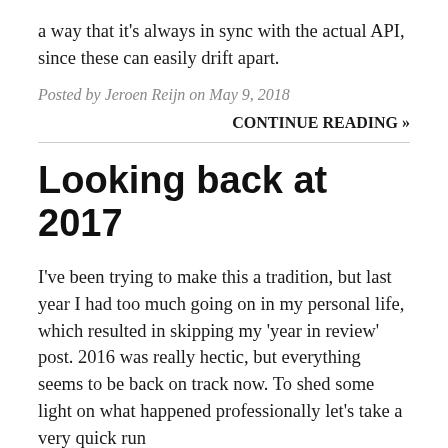a way that it's always in sync with the actual API, since these can easily drift apart.
Posted by Jeroen Reijn on May 9, 2018
CONTINUE READING »
Looking back at 2017
I've been trying to make this a tradition, but last year I had too much going on in my personal life, which resulted in skipping my 'year in review' post. 2016 was really hectic, but everything seems to be back on track now. To shed some light on what happened professionally let's take a very quick run